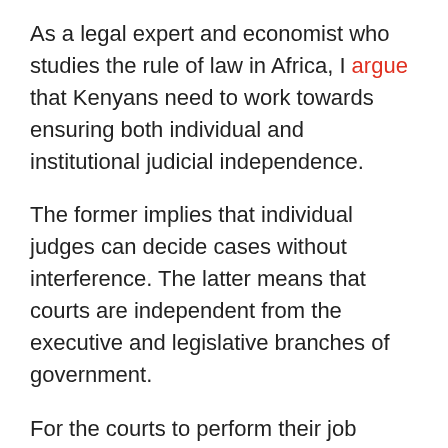As a legal expert and economist who studies the rule of law in Africa, I argue that Kenyans need to work towards ensuring both individual and institutional judicial independence.
The former implies that individual judges can decide cases without interference. The latter means that courts are independent from the executive and legislative branches of government.
For the courts to perform their job effectively, including resolving elections-related conflicts, they must be independent. Additionally, Kenyans must